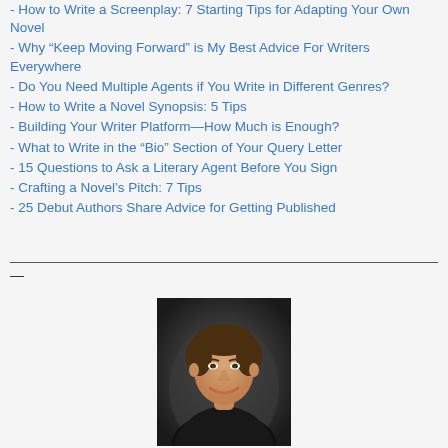- How to Write a Screenplay: 7 Starting Tips for Adapting Your Own Novel
- Why “Keep Moving Forward” is My Best Advice For Writers Everywhere
- Do You Need Multiple Agents if You Write in Different Genres?
- How to Write a Novel Synopsis: 5 Tips
- Building Your Writer Platform—How Much is Enough?
- What to Write in the “Bio” Section of Your Query Letter
- 15 Questions to Ask a Literary Agent Before You Sign
- Crafting a Novel’s Pitch: 7 Tips
- 25 Debut Authors Share Advice for Getting Published
[Figure (photo): Headshot of a smiling young man with short brown hair, wearing a dark shirt, against a dark background]